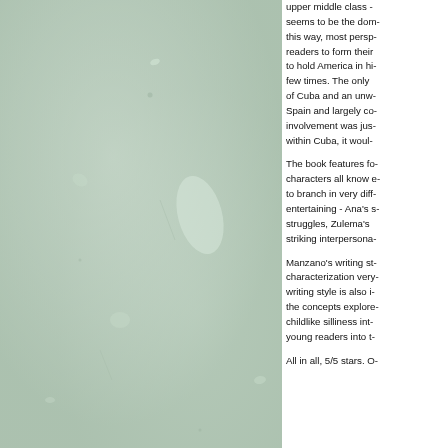[Figure (photo): Light green/teal textured background resembling aged paper or plaster with faint marks and stains.]
upper middle class - seems to be the dominant perspective. Written this way, most perspectives allow readers to form their own opinions to hold America in high regard a few times. The only criticisms of Cuba and an unwilling occupation of Spain and largely colonial involvement was just. If told from within Cuba, it would...
The book features four main characters all know each other but to branch in very different ways entertaining - Ana's struggles, Zulema's striking interpersonal...
Manzano's writing style characterization very writing style is also in the concepts explored childlike silliness into young readers into t...
All in all, 5/5 stars. O...